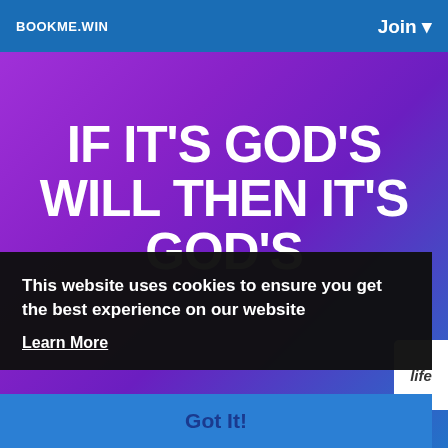BOOKME.WIN   Join ▾
[Figure (screenshot): Purple-to-blue gradient hero banner with large white bold text reading: IF IT'S GOD'S WILL THEN IT'S GOD'S]
IF IT'S GOD'S WILL THEN IT'S GOD'S
This website uses cookies to ensure you get the best experience on our website
Learn More
Got It!